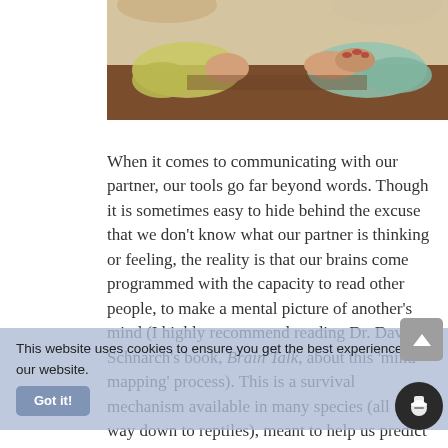[Figure (photo): Two people sitting at a wooden table, hands clasped or gesturing, a counseling or conversation scene.]
When it comes to communicating with our partner, our tools go far beyond words. Though it is sometimes easy to hide behind the excuse that we don’t know what our partner is thinking or feeling, the reality is that our brains come programmed with the capacity to read other people, to make a mental picture of another’s mind (I highly recommend reading Dr. David Schnarch’s book, Brain Talk, about this ‘mind mapping’ process). This is a survival mechanism available in many species (all the way down to reptiles), meant to help us predict the behavior of another creature. You have elaborate and dedicated parts of your brain that read body